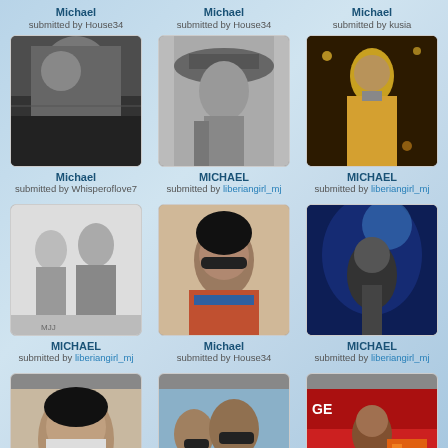[Figure (photo): Photo of Michael, submitted by House34 - black and white concert crowd photo]
Michael
submitted by House34
[Figure (photo): Photo of MICHAEL, submitted by liberiangirl_mj - man in hat grayscale]
MICHAEL
submitted by liberiangirl_mj
[Figure (photo): Photo of MICHAEL, submitted by liberiangirl_mj - performer in gold jacket]
MICHAEL
submitted by liberiangirl_mj
[Figure (photo): Photo of MICHAEL, submitted by liberiangirl_mj - black and white award show]
MICHAEL
submitted by liberiangirl_mj
[Figure (photo): Photo of Michael, submitted by House34 - man with sunglasses and scarf]
Michael
submitted by House34
[Figure (photo): Photo of MICHAEL, submitted by liberiangirl_mj - blue stage light]
MICHAEL
submitted by liberiangirl_mj
[Figure (photo): Photo of Michael - portrait close up]
Michael
[Figure (photo): Photo of MICHAEL - group with sunglasses]
MICHAEL
[Figure (photo): Photo submitted by kusia - person at event]